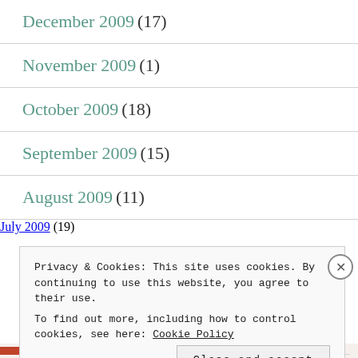December 2009 (17)
November 2009 (1)
October 2009 (18)
September 2009 (15)
August 2009 (11)
July 2009 (19)
Privacy & Cookies: This site uses cookies. By continuing to use this website, you agree to their use.
To find out more, including how to control cookies, see here: Cookie Policy
Close and accept